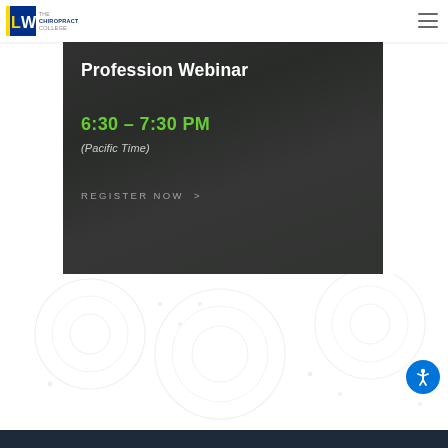[Figure (logo): Logan-Watt Chiropractic College logo with LW letters in blue/yellow square and text]
[Figure (screenshot): Webinar promotional banner with dark background showing 'Profession Webinar', time '6:30 – 7:30 PM', '(Pacific Time)', and 'REGISTER NOW >' button]
Profession Webinar
6:30 – 7:30 PM
(Pacific Time)
REGISTER NOW >
[Figure (illustration): Decorative background with faded circular/grid pattern watermark]